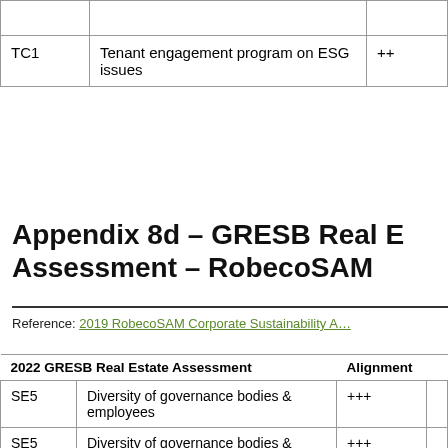|  |  |  |
| --- | --- | --- |
| TC1 | Tenant engagement program on ESG issues | ++ |
Appendix 8d - GRESB Real Estate Assessment - RobecoSAM
Reference: 2019 RobecoSAM Corporate Sustainability Assessment
| 2022 GRESB Real Estate Assessment | Alignment |  |
| --- | --- | --- |
| SE5 | Diversity of governance bodies & employees | +++ |
| SE5 | Diversity of governance bodies & employees | +++ |